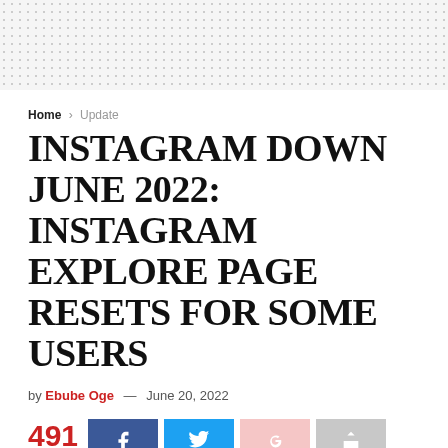[Figure (other): Dotted/stippled banner area at top of page]
Home > Update
INSTAGRAM DOWN JUNE 2022: INSTAGRAM EXPLORE PAGE RESETS FOR SOME USERS
by Ebube Oge — June 20, 2022
491 SHARES